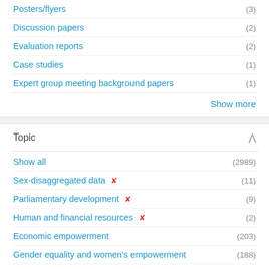Posters/flyers (3)
Discussion papers (2)
Evaluation reports (2)
Case studies (1)
Expert group meeting background papers (1)
Show more
Topic
Show all (2989)
Sex-disaggregated data ✕ (11)
Parliamentary development ✕ (9)
Human and financial resources ✕ (2)
Economic empowerment (203)
Gender equality and women's empowerment (188)
Ending violence against women and girls (146)
2030 Agenda for Sustainable Development (121)